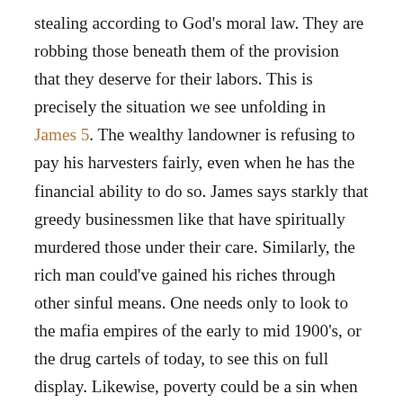stealing according to God's moral law. They are robbing those beneath them of the provision that they deserve for their labors. This is precisely the situation we see unfolding in James 5. The wealthy landowner is refusing to pay his harvesters fairly, even when he has the financial ability to do so. James says starkly that greedy businessmen like that have spiritually murdered those under their care. Similarly, the rich man could've gained his riches through other sinful means. One needs only to look to the mafia empires of the early to mid 1900's, or the drug cartels of today, to see this on full display. Likewise, poverty could be a sin when one's own idolatry, greed, covetousness, and slothfulness lead to their inability to provide for themselves and their families (Proverbs 6:10–11, 10:4, 12:24, 13:18, etc.). A fallen humanity is surely capable of sinning themselves into financial oblivion. A man could